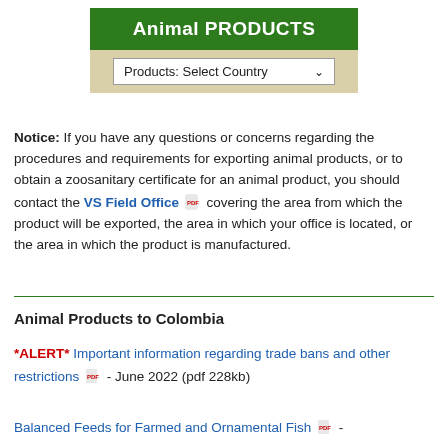Animal PRODUCTS
[Figure (screenshot): Dropdown selector labeled 'Products: Select Country' with a chevron]
Notice: If you have any questions or concerns regarding the procedures and requirements for exporting animal products, or to obtain a zoosanitary certificate for an animal product, you should contact the VS Field Office covering the area from which the product will be exported, the area in which your office is located, or the area in which the product is manufactured.
Animal Products to Colombia
*ALERT* Important information regarding trade bans and other restrictions - June 2022 (pdf 228kb)
Balanced Feeds for Farmed and Ornamental Fish -